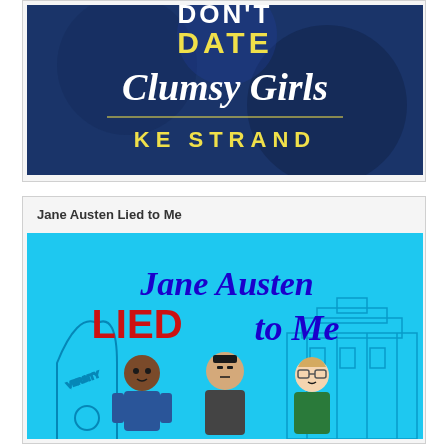[Figure (illustration): Book cover for 'Don't Date Clumsy Girls' by KE Strand. Dark navy blue background with white cursive text 'Clumsy Girls' and bold yellow text 'DATE' and 'KE STRAND'.]
Jane Austen Lied to Me
[Figure (illustration): Book cover for 'Jane Austen Lied to Me'. Light blue background with handwritten-style dark blue text 'Jane Austen' and red graffiti-style text 'LIED to Me'. Three cartoon male characters at the bottom in front of a university building outline.]